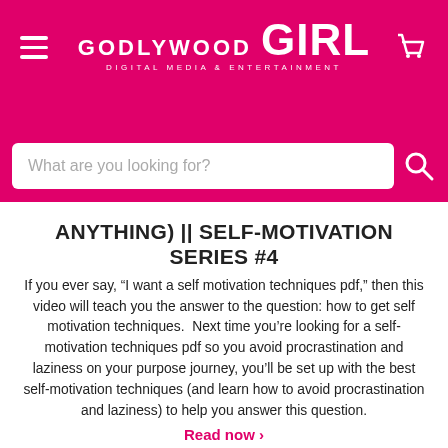[Figure (logo): Godlywood Girl logo on pink/magenta header with hamburger menu and cart icon]
What are you looking for?
ANYTHING) || SELF-MOTIVATION SERIES #4
If you ever say, “I want a self motivation techniques pdf,” then this video will teach you the answer to the question: how to get self motivation techniques.  Next time you’re looking for a self-motivation techniques pdf so you avoid procrastination and laziness on your purpose journey, you’ll be set up with the best self-motivation techniques (and learn how to avoid procrastination and laziness) to help you answer this question.
Read now ›